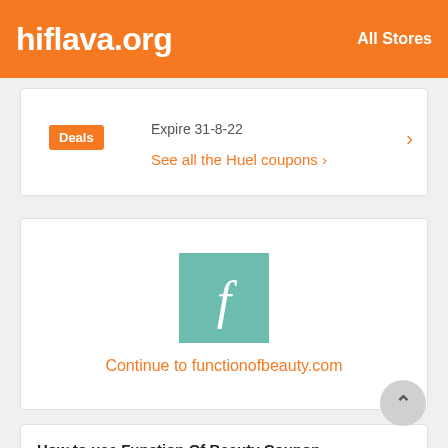hiflava.org   All Stores
Expire 31-8-22
Deals
See all the Huel coupons ›
[Figure (logo): Function of Beauty logo: teal/mint square with a white italic 'f' in serif font]
Continue to functionofbeauty.com
How to use Function Of Beauty Coupon
More and more shops are issuing different types of discount cards for their customers to choose from.